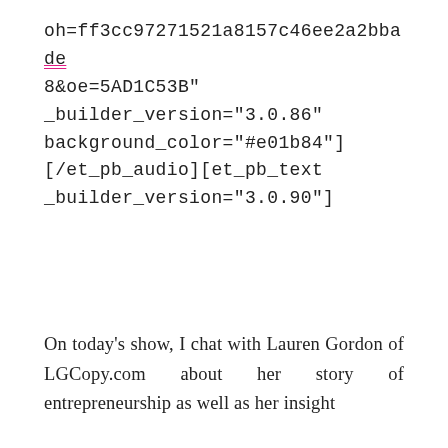oh=ff3cc97271521a8157c46ee2a2bbade8&oe=5AD1C53B" _builder_version="3.0.86" background_color="#e01b84"] [/et_pb_audio][et_pb_text _builder_version="3.0.90"]
On today's show, I chat with Lauren Gordon of LGCopy.com about her story of entrepreneurship as well as her insight